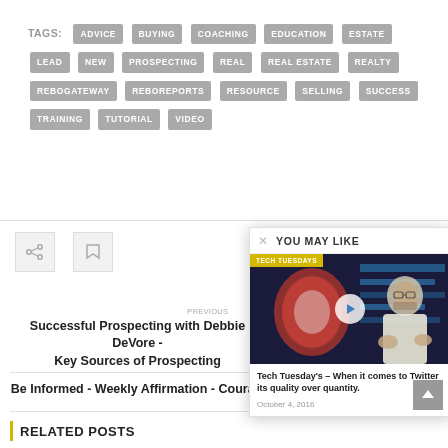TAGS: ADVICE BUYING COACHING EDUCATION ESTATE LEAD NEW PROSPECTING REAL REAL ESTATE REALTY REBOGATEWAY REBOREPORTS RESOURCE SELLING SUCCESS TRAINING TUTORIAL VIDEO
[Figure (screenshot): Share and flag icon buttons]
Successful Prospecting with Debbie DeVore - Key Sources of Prospecting
Be Informed - Weekly Affirmation - Courage
RELATED POSTS
YOU MAY LIKE
[Figure (screenshot): Video thumbnail for Tech Tuesday's - When it comes to Twitter its quality over quantity, featuring a man in a white shirt with a globe graphic behind him. Badge reads TECH TUESDAYS with a play button overlay.]
Tech Tuesday's – When it comes to Twitter its quality over quantity.
October 4, 2016
0